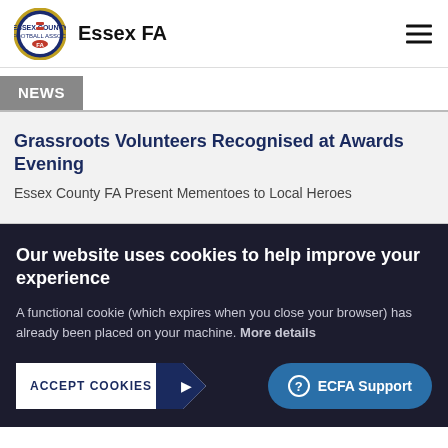Essex FA
NEWS
Grassroots Volunteers Recognised at Awards Evening
Essex County FA Present Mementoes to Local Heroes
Our website uses cookies to help improve your experience
A functional cookie (which expires when you close your browser) has already been placed on your machine. More details
ACCEPT COOKIES
ECFA Support